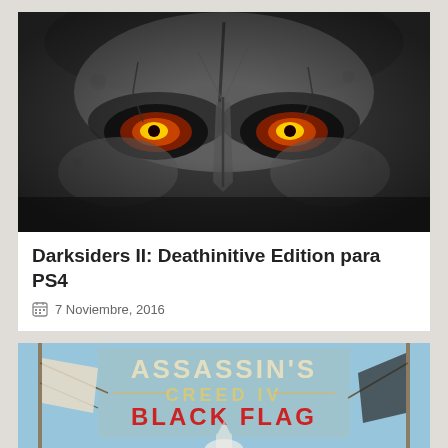[Figure (photo): Close-up of a dark stone skull mask with glowing orange-red eyes — Darksiders II promotional art]
Darksiders II: Deathinitive Edition para PS4
7 Noviembre, 2016
[Figure (photo): Assassin's Creed IV Black Flag game cover art showing the title logo and a character in a white hood]